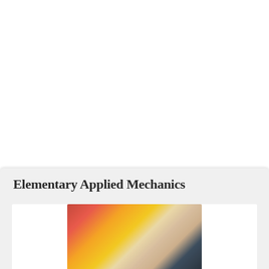Elementary Applied Mechanics
[Figure (photo): Partial view of a book cover for 'Elementary Applied Mechanics', showing a colorful image with red, orange, yellow and dark tones, partially visible at the bottom of the card.]